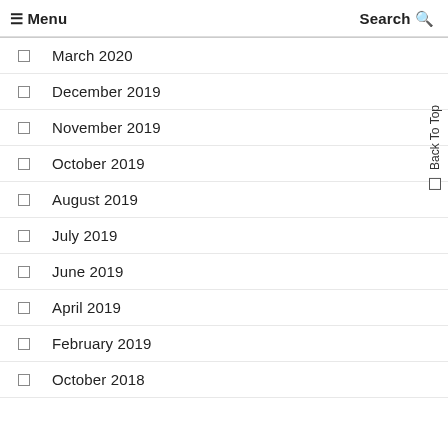☰ Menu   Search 🔍
March 2020
December 2019
November 2019
October 2019
August 2019
July 2019
June 2019
April 2019
February 2019
October 2018